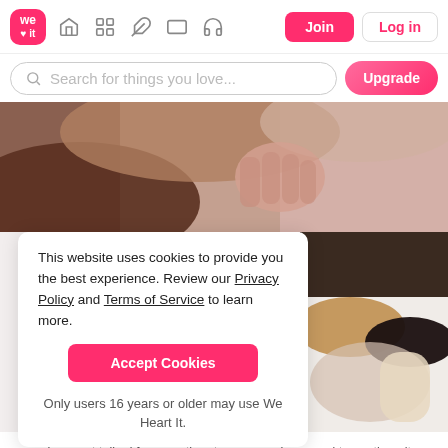[Figure (screenshot): We Heart It website navigation bar with logo, icons, Join and Log in buttons]
[Figure (screenshot): Search bar with 'Search for things you love...' placeholder and Upgrade button]
[Figure (photo): Hero image showing two people close together with hair in foreground]
This website uses cookies to provide you the best experience. Review our Privacy Policy and Terms of Service to learn more.
[Figure (photo): Side photo showing two people lying on a bed viewed from above]
Only users 16 years or older may use We Heart It.
we have not talked for more than two years. she moved to another city.